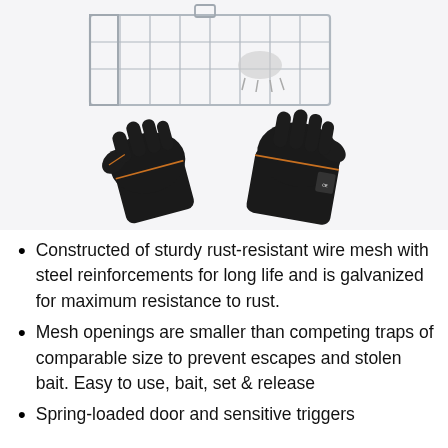[Figure (photo): Product photo showing a wire mesh animal trap cage (top) and a pair of black leather protective gloves with orange stitching (bottom), both displayed on a white/light gray background.]
Constructed of sturdy rust-resistant wire mesh with steel reinforcements for long life and is galvanized for maximum resistance to rust.
Mesh openings are smaller than competing traps of comparable size to prevent escapes and stolen bait. Easy to use, bait, set & release
Spring-loaded door and sensitive triggers